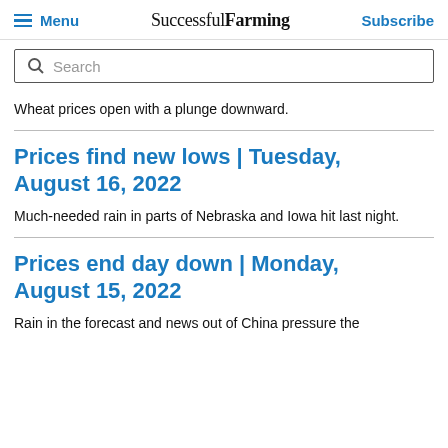Menu | Successful Farming | Subscribe
Search
Wheat prices open with a plunge downward.
Prices find new lows | Tuesday, August 16, 2022
Much-needed rain in parts of Nebraska and Iowa hit last night.
Prices end day down | Monday, August 15, 2022
Rain in the forecast and news out of China pressure the